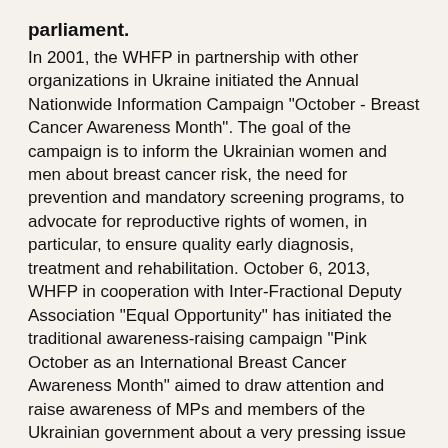parliament.
In 2001, the WHFP in partnership with other organizations in Ukraine initiated the Annual Nationwide Information Campaign "October - Breast Cancer Awareness Month". The goal of the campaign is to inform the Ukrainian women and men about breast cancer risk, the need for prevention and mandatory screening programs, to advocate for reproductive rights of women, in particular, to ensure quality early diagnosis, treatment and rehabilitation. October 6, 2013, WHFP in cooperation with Inter-Fractional Deputy Association "Equal Opportunity" has initiated the traditional awareness-raising campaign "Pink October as an International Breast Cancer Awareness Month" aimed to draw attention and raise awareness of MPs and members of the Ukrainian government about a very pressing issue of breast cancer as well as to appeal to them on the need of state support to comprehensive solution of the problem related to BC prevention. MPs, members of the Ukrainian government, the staff of the Verkhovna Rada's apparatus, and journalists received information materials and got acquainted with thematic